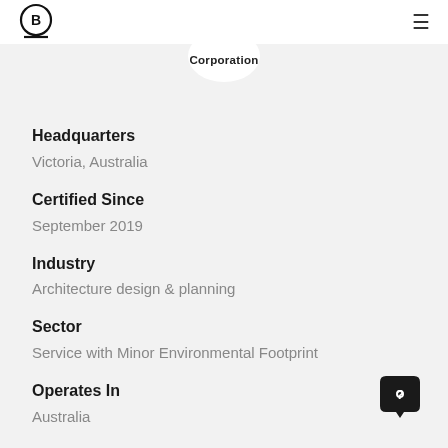B Corporation
Headquarters
Victoria, Australia
Certified Since
September 2019
Industry
Architecture design & planning
Sector
Service with Minor Environmental Footprint
Operates In
Australia
Website